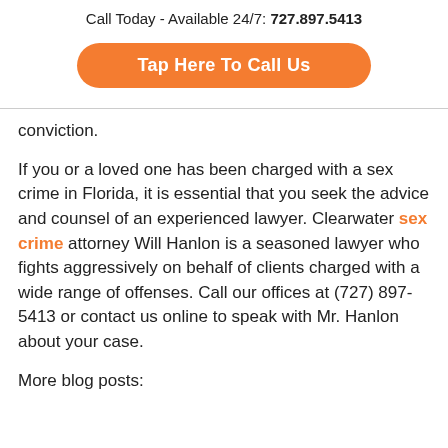Call Today - Available 24/7: 727.897.5413
[Figure (other): Orange rounded button with text 'Tap Here To Call Us']
conviction.
If you or a loved one has been charged with a sex crime in Florida, it is essential that you seek the advice and counsel of an experienced lawyer. Clearwater sex crime attorney Will Hanlon is a seasoned lawyer who fights aggressively on behalf of clients charged with a wide range of offenses. Call our offices at (727) 897-5413 or contact us online to speak with Mr. Hanlon about your case.
More blog posts: